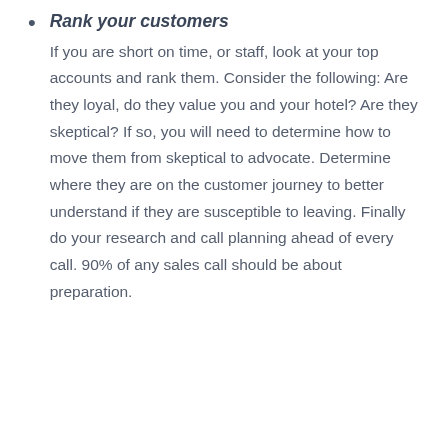Rank your customers
If you are short on time, or staff, look at your top accounts and rank them. Consider the following: Are they loyal, do they value you and your hotel? Are they skeptical? If so, you will need to determine how to move them from skeptical to advocate. Determine where they are on the customer journey to better understand if they are susceptible to leaving. Finally do your research and call planning ahead of every call. 90% of any sales call should be about preparation.